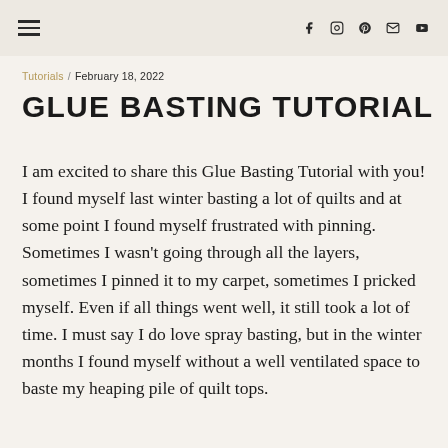≡   f  IG  P  ✉  ▶
Tutorials / February 18, 2022
GLUE BASTING TUTORIAL
I am excited to share this Glue Basting Tutorial with you! I found myself last winter basting a lot of quilts and at some point I found myself frustrated with pinning. Sometimes I wasn't going through all the layers, sometimes I pinned it to my carpet, sometimes I pricked myself. Even if all things went well, it still took a lot of time. I must say I do love spray basting, but in the winter months I found myself without a well ventilated space to baste my heaping pile of quilt tops.